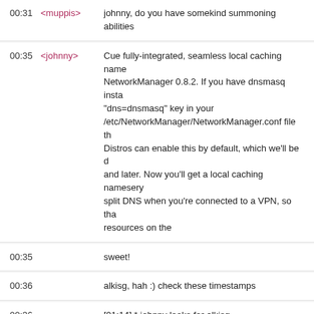00:31 <muppis> johnny, do you have somekind summoning abilities
00:35 <johnny> Cue fully-integrated, seamless local caching nameserver in NetworkManager 0.8.2. If you have dnsmasq installed, add a "dns=dnsmasq" key in your /etc/NetworkManager/NetworkManager.conf file th... Distros can enable this by default, which we'll be d... and later. Now you'll get a local caching nameserv... split DNS when you're connected to a VPN, so tha... resources on the
00:35  sweet!
00:36  alkisg, hah :) check these timestamps
00:36  [01:14] * johnny looks for alkisg
00:36  [01:17] alkisg has joined the group chat
00:36 <alkisg> Good morning people. Hey johnny, could you danc... the weekend so that we can go swiming? :D
00:36 <johnny> alkisg, http://blogs.gnome.org/dcbw/2010/09/23/do... that's the actual link